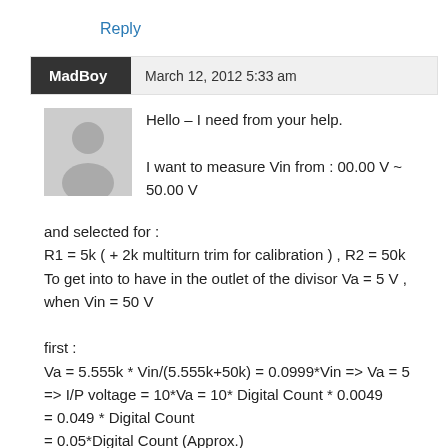Reply
MadBoy   March 12, 2012 5:33 am
[Figure (illustration): Generic user avatar placeholder icon (grey silhouette of a person on light grey background)]
Hello – I need from your help.

I want to measure Vin from : 00.00 V ~ 50.00 V
and selected for :
R1 = 5k ( + 2k multiturn trim for calibration ) , R2 = 50k To get into to have in the outlet of the divisor Va = 5 V , when Vin = 50 V

first :
Va = 5.555k * Vin/(5.555k+50k) = 0.0999*Vin => Va = 5
=> I/P voltage = 10*Va = 10* Digital Count * 0.0049
= 0.049 * Digital Count
= 0.05*Digital Count (Approx.)